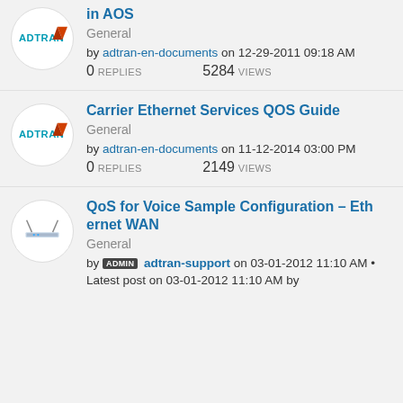in AOS — General — by adtran-en-documents on 12-29-2011 09:18 AM — 0 REPLIES 5284 VIEWS
Carrier Ethernet Services QOS Guide — General — by adtran-en-documents on 11-12-2014 03:00 PM — 0 REPLIES 2149 VIEWS
QoS for Voice Sample Configuration – Ethernet WAN — General — by ADMIN adtran-support on 03-01-2012 11:10 AM • Latest post on 03-01-2012 11:10 AM by